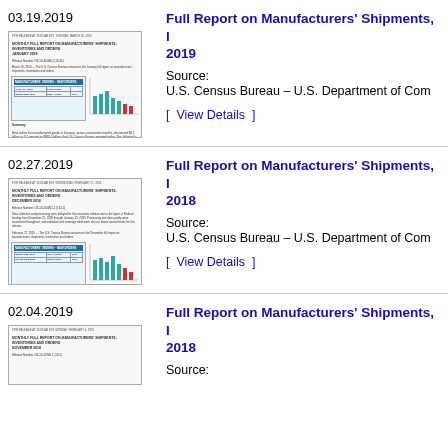03.19.2019
[Figure (screenshot): Thumbnail of Monthly Full Report on Manufacturers' Shipments, Inventories and Orders, January 2019, released March 19, 2019. Shows table with new orders data and bar chart.]
Full Report on Manufacturers' Shipments, Inventories and Orders: January 2019
Source:
U.S. Census Bureau – U.S. Department of Commerce
[ View Details ]
02.27.2019
[Figure (screenshot): Thumbnail of Monthly Full Report on Manufacturers' Shipments, Inventories and Orders, December 2018, released February 27, 2019. Shows table with new orders data and bar chart.]
Full Report on Manufacturers' Shipments, Inventories and Orders: December 2018
Source:
U.S. Census Bureau – U.S. Department of Commerce
[ View Details ]
02.04.2019
[Figure (screenshot): Thumbnail of Monthly Full Report on Manufacturers' Shipments, Inventories and Orders, November 2018, released February 4, 2019.]
Full Report on Manufacturers' Shipments, Inventories and Orders: November 2018
Source: